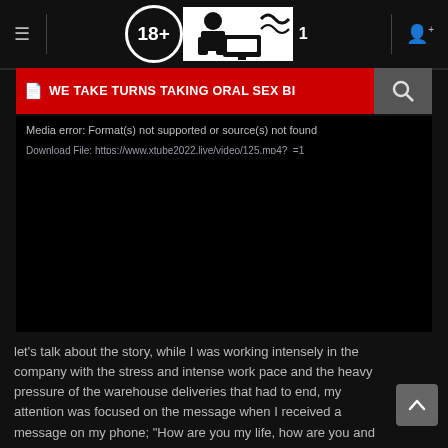≡  [18+ logo] [site icon] 1  👤+
WE TAKE TURNS TAKING ORAL SEX BI
Media error: Format(s) not supported or source(s) not found
Download File: https://www.xtube2022.live/video/125.mp4?_=1
[Figure (screenshot): Black video player area]
let's talk about the story, while I was working intensely in the company with the stress and intense work pace and the heavy pressure of the warehouse deliveries that had to end, my attention was focused on the message when I received a message on my phone; "How are you my life, how are you and your husband? I'm going to divorce my husband, I can't enjoy it anymore, if you haven't divorced yet, what are